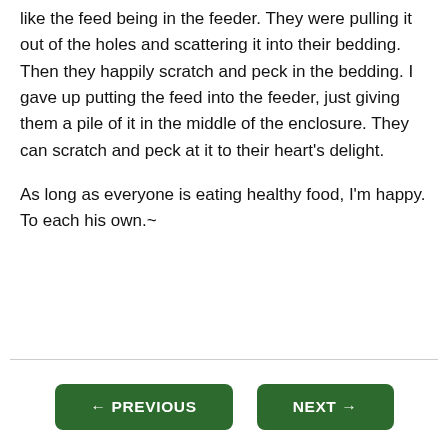like the feed being in the feeder. They were pulling it out of the holes and scattering it into their bedding. Then they happily scratch and peck in the bedding. I gave up putting the feed into the feeder, just giving them a pile of it in the middle of the enclosure. They can scratch and peck at it to their heart's delight.

As long as everyone is eating healthy food, I'm happy. To each his own.~
← PREVIOUS   NEXT →